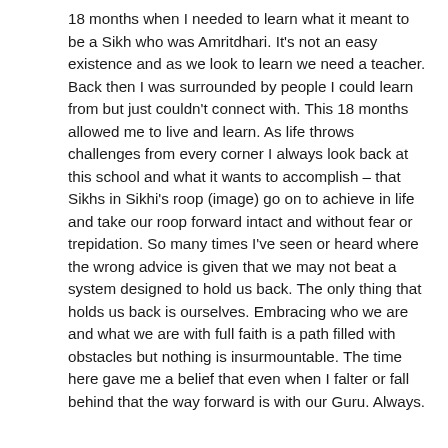18 months when I needed to learn what it meant to be a Sikh who was Amritdhari. It's not an easy existence and as we look to learn we need a teacher. Back then I was surrounded by people I could learn from but just couldn't connect with. This 18 months allowed me to live and learn. As life throws challenges from every corner I always look back at this school and what it wants to accomplish – that Sikhs in Sikhi's roop (image) go on to achieve in life and take our roop forward intact and without fear or trepidation. So many times I've seen or heard where the wrong advice is given that we may not beat a system designed to hold us back. The only thing that holds us back is ourselves. Embracing who we are and what we are with full faith is a path filled with obstacles but nothing is insurmountable. The time here gave me a belief that even when I falter or fall behind that the way forward is with our Guru. Always.